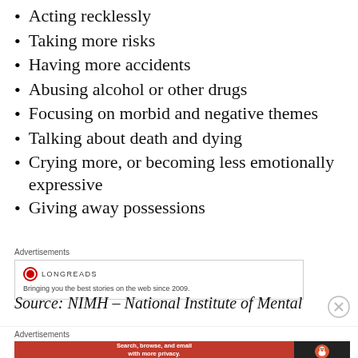Acting recklessly
Taking more risks
Having more accidents
Abusing alcohol or other drugs
Focusing on morbid and negative themes
Talking about death and dying
Crying more, or becoming less emotionally expressive
Giving away possessions
[Figure (screenshot): Longreads advertisement: Bringing you the best stories on the web since 2009.]
Source: NIMH – National Institute of Mental
[Figure (screenshot): DuckDuckGo advertisement: Search, browse, and email with more privacy. All in One Free App]